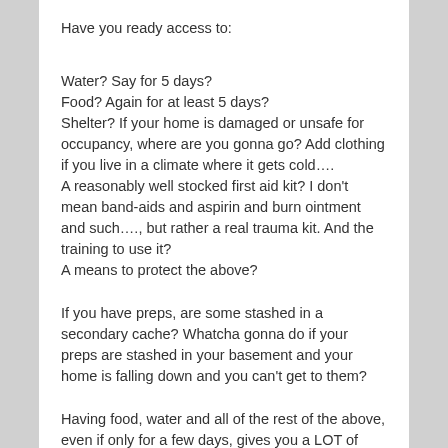Have you ready access to:
Water? Say for 5 days?
Food? Again for at least 5 days?
Shelter? If your home is damaged or unsafe for occupancy, where are you gonna go? Add clothing if you live in a climate where it gets cold….
A reasonably well stocked first aid kit? I don't mean band-aids and aspirin and burn ointment and such…., but rather a real trauma kit. And the training to use it?
A means to protect the above?
If you have preps, are some stashed in a secondary cache? Whatcha gonna do if your preps are stashed in your basement and your home is falling down and you can't get to them?
Having food, water and all of the rest of the above, even if only for a few days, gives you a LOT of options.